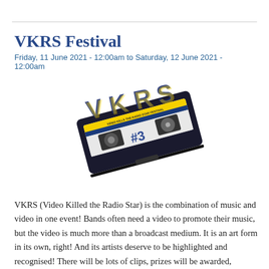VKRS Festival
Friday, 11 June 2021 - 12:00am to Saturday, 12 June 2021 - 12:00am
[Figure (photo): A VHS cassette tape with 'VKRS' lettering in blue and yellow on top, labeled 'Video Killed the Radio Star Festival #3', tilted at an angle against a white background.]
VKRS (Video Killed the Radio Star) is the combination of music and video in one event! Bands often need a video to promote their music, but the video is much more than a broadcast medium. It is an art form in its own, right! And its artists deserve to be highlighted and recognised! There will be lots of clips, prizes will be awarded, professionals will mingle,